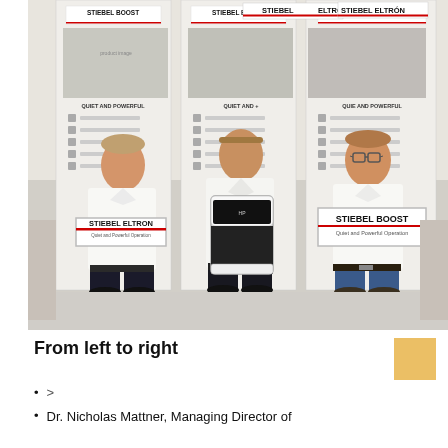[Figure (photo): Three men standing side by side in front of Stiebel Eltron promotional banners. Left man holds a sign reading 'STIEBEL ELTRON', middle man holds a black and white device/product, right man holds a sign reading 'STIEBEL BOOST – Quiet and Powerful Operation'.]
From left to right
>
Dr. Nicholas Mattner, Managing Director of